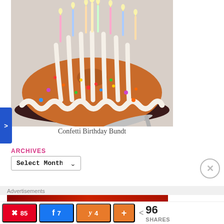[Figure (photo): A confetti birthday bundt cake with white cream cheese frosting drizzled in vertical stripes, colorful sprinkles, and lit birthday candles on a dark plate, with a silver spoon in the background.]
Confetti Birthday Bundt
ARCHIVES
Select Month (dropdown)
Advertisements
85 (Pinterest share) | 7 (Facebook share) | 4 (Yummly share) | + (More) | 96 SHARES